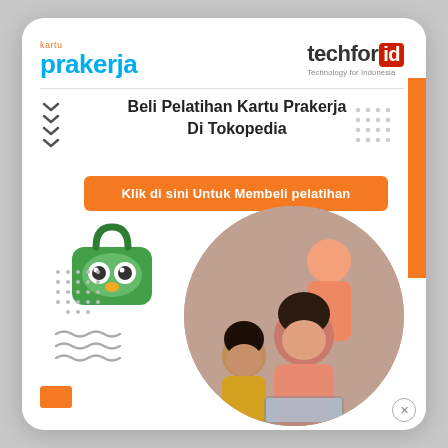[Figure (logo): Kartu Prakerja logo — 'kartu' in orange above 'prakerja' in bold blue]
[Figure (logo): Techfor.id logo — 'techfor' in dark with red 'id' box, subtitle 'Technology for Indonesia']
Beli Pelatihan Kartu Prakerja Di Tokopedia
Klik di sini Untuk Membeli pelatihan
[Figure (illustration): Tokopedia green owl mascot shopping bag icon]
[Figure (photo): Photo of students working on a laptop in a classroom setting, circular crop]